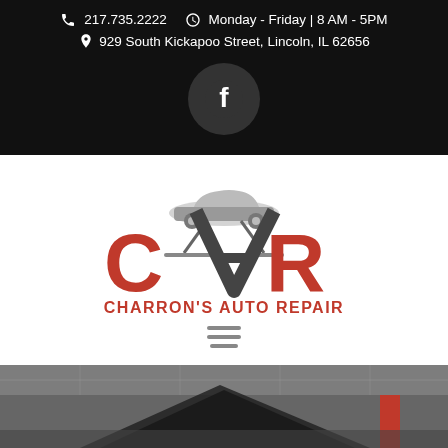217.735.2222   Monday - Friday | 8 AM - 5PM   929 South Kickapoo Street, Lincoln, IL 62656
[Figure (logo): Facebook logo icon in a dark circle]
[Figure (logo): Charron's Auto Repair logo: stylized CAR letters in red and dark gray with a car silhouette on top, text CHARRON'S AUTO REPAIR below in red]
[Figure (photo): Photo of a car hood open on a lift inside an auto repair shop, viewed from below showing the underside of the hood and garage ceiling]